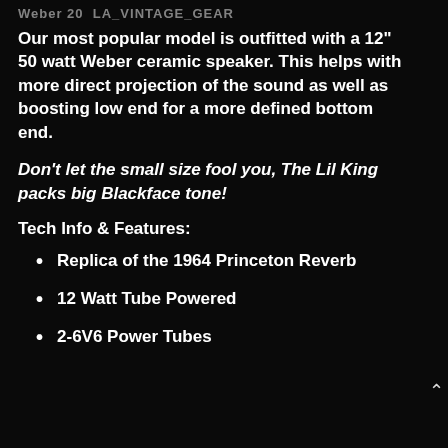Weber 20 ... LA_VINTAGE_GEAR
Our most popular model is outfitted with a 12" 50 watt Weber ceramic speaker. This helps with more direct projection of the sound as well as boosting low end for a more defined bottom end.
Don't let the small size fool you, The Lil King packs big Blackface tone!
Tech Info & Features:
Replica of the 1964 Princeton Reverb
12 Watt Tube Powered
2-6V6 Power Tubes